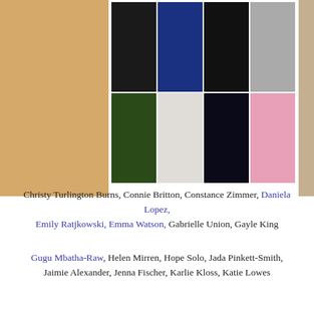[Figure (photo): 2x4 grid of red carpet photos showing eight women in formal gowns at a White House Correspondents Dinner or similar event]
Christy Turlington Burns, Connie Britton, Constance Zimmer, Daniela Lopez, Emily Ratjkowski, Emma Watson, Gabrielle Union, Gayle King
Gugu Mbatha-Raw, Helen Mirren, Hope Solo, Jada Pinkett-Smith, Jaimie Alexander, Jenna Fischer, Karlie Kloss, Katie Lowes